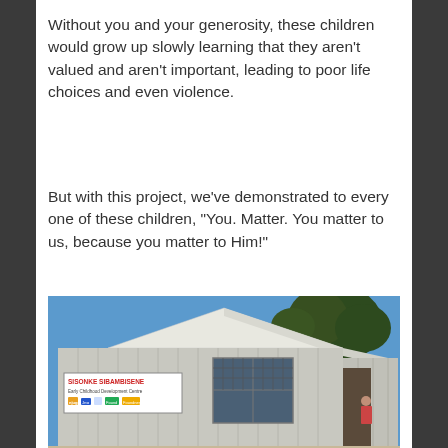Without you and your generosity, these children would grow up slowly learning that they aren't valued and aren't important, leading to poor life choices and even violence.
But with this project, we've demonstrated to every one of these children, "You. Matter. You matter to us, because you matter to Him!"
[Figure (photo): Exterior photo of the Sisonke Sibambisene Early Childhood Development Centre, housed in a shipping container with a white tent/marquee roof. A sign on the front reads 'SISONKE SIBAMBISENE Early Childhood Development Centre' with various sponsor logos. Blue sky and trees visible in background.]